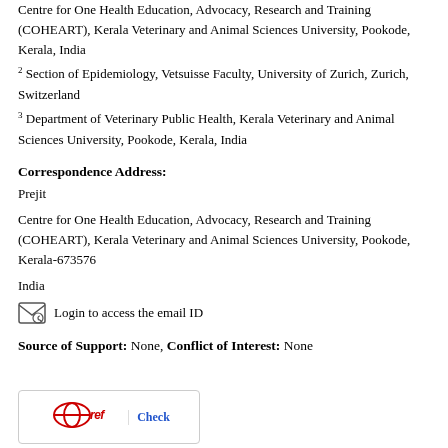Centre for One Health Education, Advocacy, Research and Training (COHEART), Kerala Veterinary and Animal Sciences University, Pookode, Kerala, India
2 Section of Epidemiology, Vetsuisse Faculty, University of Zurich, Zurich, Switzerland
3 Department of Veterinary Public Health, Kerala Veterinary and Animal Sciences University, Pookode, Kerala, India
Correspondence Address:
Prejit
Centre for One Health Education, Advocacy, Research and Training (COHEART), Kerala Veterinary and Animal Sciences University, Pookode, Kerala-673576
India
Login to access the email ID
Source of Support: None, Conflict of Interest: None
[Figure (logo): Crossref logo with 'Check' button]